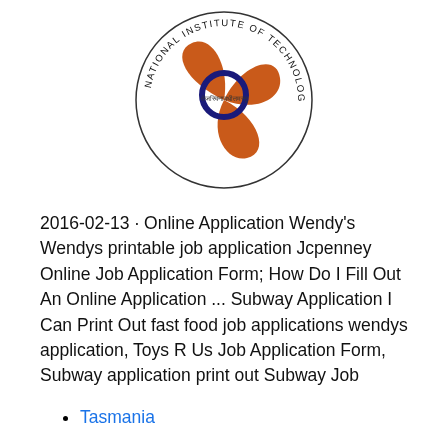[Figure (logo): National Institute of Technology, Silchar circular logo with orange and blue design and Sanskrit/Hindi text in the center, surrounded by text 'NATIONAL INSTITUTE OF TECHNOLOGY, SILCHAR']
2016-02-13 · Online Application Wendy's Wendys printable job application Jcpenney Online Job Application Form; How Do I Fill Out An Online Application ... Subway Application I Can Print Out fast food job applications wendys application, Toys R Us Job Application Form, Subway application print out Subway Job
Tasmania